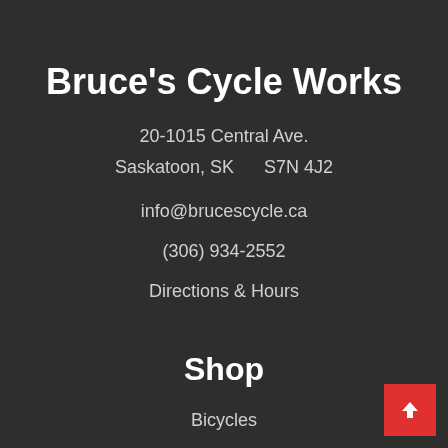Bruce's Cycle Works
20-1015 Central Ave.
Saskatoon, SK    S7N 4J2
info@brucescycle.ca
(306) 934-2552
Directions & Hours
Shop
Bicycles
Cycling Apparel
Cycling Accessories
Bike Components